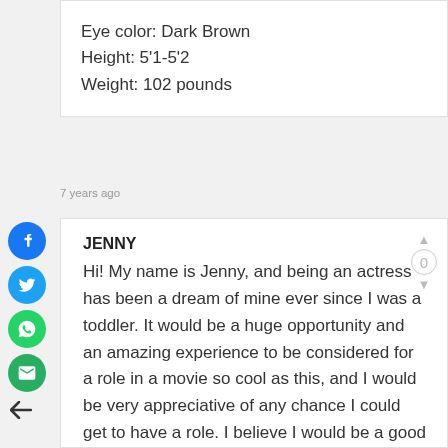Eye color: Dark Brown
Height: 5'1-5'2
Weight: 102 pounds
7 years ago
JENNY
Hi! My name is Jenny, and being an actress has been a dream of mine ever since I was a toddler. It would be a huge opportunity and an amazing experience to be considered for a role in a movie so cool as this, and I would be very appreciative of any chance I could get to have a role. I believe I would be a good fit for this film because